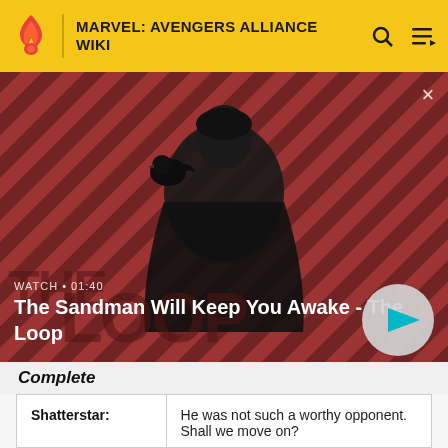MARVEL: AVENGERS ALLIANCE WIKI
[Figure (screenshot): Video thumbnail showing a dark figure with a raven on their shoulder against a red diagonal striped background. Title reads 'The Sandman Will Keep You Awake - The Loop'. Duration shown as WATCH • 01:40 with a play button.]
Complete
| Shatterstar: | He was not such a worthy opponent. Shall we move on? |